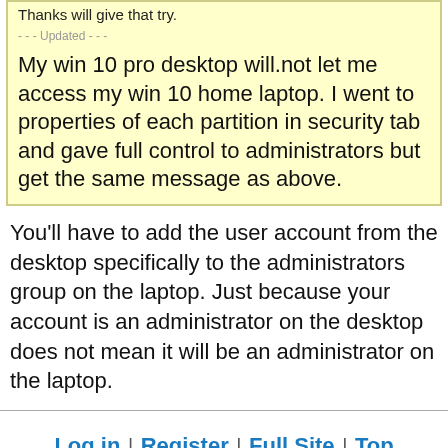Thanks will give that try.
- - - Updated - - -
My win 10 pro desktop will.not let me access my win 10 home laptop. I went to properties of each partition in security tab and gave full control to administrators but get the same message as above.
You'll have to add the user account from the desktop specifically to the administrators group on the laptop. Just because your account is an administrator on the desktop does not mean it will be an administrator on the laptop.
Log in | Register | Full Site | Top
The Windows 10 Forums is an independent web site and has not been authorized, sponsored, or otherwise approved by Microsoft Corporation. "Windows" and related materials are trademarks of Microsoft Corp. © Designer Media Ltd